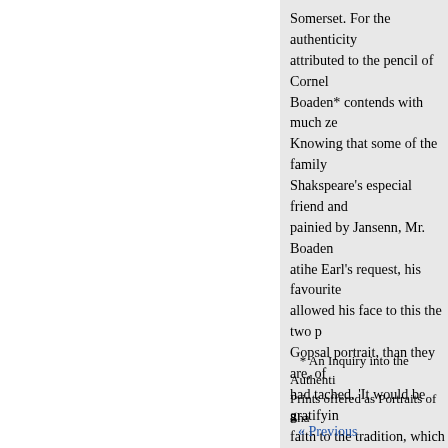Somerset. For the authenticity attributed to the pencil of Cornel Boaden* contends with much ze Knowing that some of the family Shakspeare's especial friend and painied by Jansenn, Mr. Boaden atihe Earl's request, his favourite allowed his face to this the two p Gopsal portrait, than they are, of had tached. 'It would be gratifyin faith to the tradition, which asser monument was sculptured from a face of the departed poet; for the ourselves that we possess one au of this pre-eminently intellectual
* An Inquiry into the Authenti Prints offered as Portraits of Sha
a
« Previous